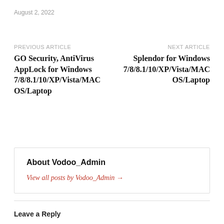August 2, 2022
PREVIOUS ARTICLE
GO Security, AntiVirus AppLock for Windows 7/8/8.1/10/XP/Vista/MAC OS/Laptop
NEXT ARTICLE
Splendor for Windows 7/8/8.1/10/XP/Vista/MAC OS/Laptop
About Vodoo_Admin
View all posts by Vodoo_Admin →
Leave a Reply